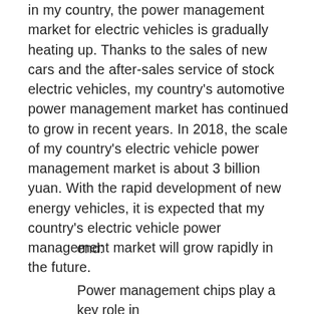Due to the popularity of new energy vehicles in my country, the power management market for electric vehicles is gradually heating up. Thanks to the sales of new cars and the after-sales service of stock electric vehicles, my country's automotive power management market has continued to grow in recent years. In 2018, the scale of my country's electric vehicle power management market is about 3 billion yuan. With the rapid development of new energy vehicles, it is expected that my country's electric vehicle power management market will grow rapidly in the future.
end:
Power management chips play a key role in